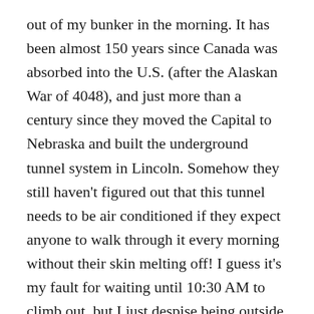out of my bunker in the morning. It has been almost 150 years since Canada was absorbed into the U.S. (after the Alaskan War of 4048), and just more than a century since they moved the Capital to Nebraska and built the underground tunnel system in Lincoln. Somehow they still haven't figured out that this tunnel needs to be air conditioned if they expect anyone to walk through it every morning without their skin melting off! I guess it's my fault for waiting until 10:30 AM to climb out, but I just despise being outside too early because there is so much smog (nation-wide air filters aren't turned on until 9 o'clock, when everyone leaves their personal bunkers for work). I finally get into my office and I have approximately 7 seconds before I am bombarded by